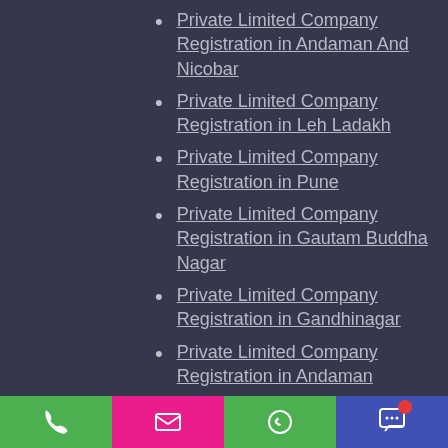Private Limited Company Registration in Andaman And Nicobar
Private Limited Company Registration in Leh Ladakh
Private Limited Company Registration in Pune
Private Limited Company Registration in Gautam Buddha Nagar
Private Limited Company Registration in Gandhinagar
Private Limited Company Registration in Andaman
Private Limited Company Registration in Hyderabad
Private Limited Company Registration in Bangalore
Private Limited Company Registration in Mysore